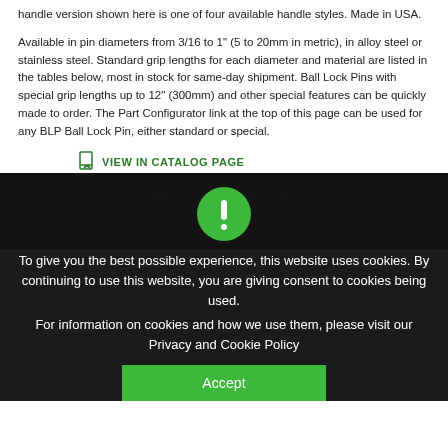handle version shown here is one of four available handle styles. Made in USA.
Available in pin diameters from 3/16 to 1" (5 to 20mm in metric), in alloy steel or stainless steel. Standard grip lengths for each diameter and material are listed in the tables below, most in stock for same-day shipment. Ball Lock Pins with special grip lengths up to 12" (300mm) and other special features can be quickly made to order. The Part Configurator link at the top of this page can be used for any BLP Ball Lock Pin, either standard or special.
VIEW IN CATALOG PAGE
CONTACT CUSTOMER SERVICE
Technical I...
Optional 4 Ball...
To give you the best possible experience, this website uses cookies. By continuing to use this website, you are giving consent to cookies being used.
For information on cookies and how we use them, please visit our Privacy and Cookie Policy
Accept